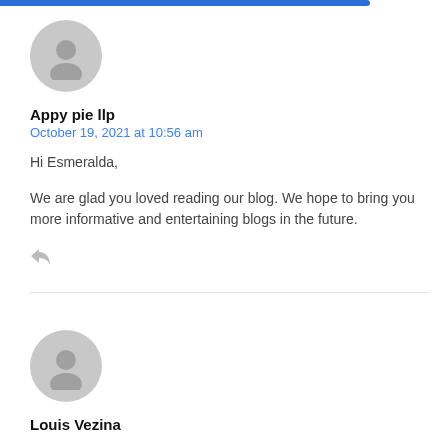[Figure (illustration): Gray circular avatar icon with generic person silhouette, first comment]
Appy pie llp
October 19, 2021 at 10:56 am
Hi Esmeralda,
We are glad you loved reading our blog. We hope to bring you more informative and entertaining blogs in the future.
[Figure (illustration): Gray circular avatar icon with generic person silhouette, second comment]
Louis Vezina